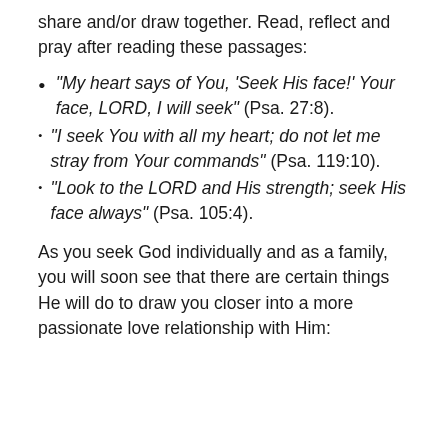share and/or draw together. Read, reflect and pray after reading these passages:
“My heart says of You, ‘Seek His face!’ Your face, LORD, I will seek” (Psa. 27:8).
“I seek You with all my heart; do not let me stray from Your commands” (Psa. 119:10).
“Look to the LORD and His strength; seek His face always” (Psa. 105:4).
As you seek God individually and as a family, you will soon see that there are certain things He will do to draw you closer into a more passionate love relationship with Him: